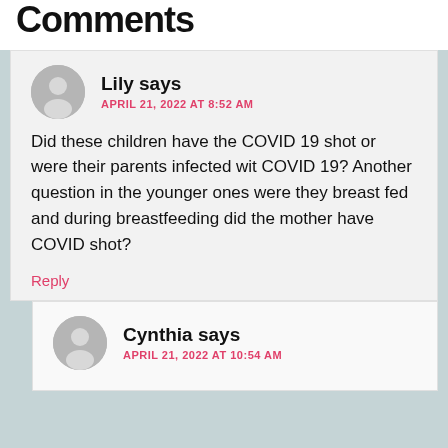Comments
Lily says
APRIL 21, 2022 AT 8:52 AM
Did these children have the COVID 19 shot or were their parents infected wit COVID 19? Another question in the younger ones were they breast fed and during breastfeeding did the mother have COVID shot?
Reply
Cynthia says
APRIL 21, 2022 AT 10:54 AM